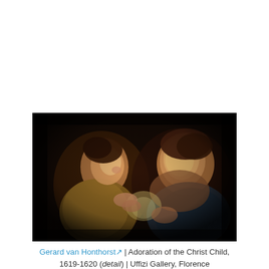[Figure (photo): A Baroque painting detail showing two children illuminated by candlelight against a dark background. One child leans forward examining something, the other smiles warmly. Rich chiaroscuro lighting in warm amber tones.]
Gerard van Honthorst↗ | Adoration of the Christ Child, 1619-1620 (detail) | Uffizi Gallery, Florence